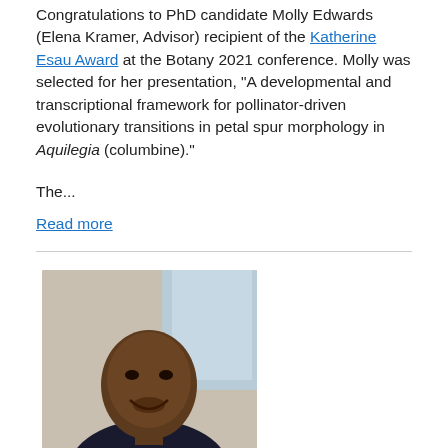Congratulations to PhD candidate Molly Edwards (Elena Kramer, Advisor) recipient of the Katherine Esau Award at the Botany 2021 conference. Molly was selected for her presentation, "A developmental and transcriptional framework for pollinator-driven evolutionary transitions in petal spur morphology in Aquilegia (columbine)."
The...
Read more
[Figure (photo): Headshot photo of Dwayne Evans, a young Black man smiling, wearing a dark shirt, with a light background.]
Dwayne Evans Awarded Ford Foundation Predoctoral Fellowship